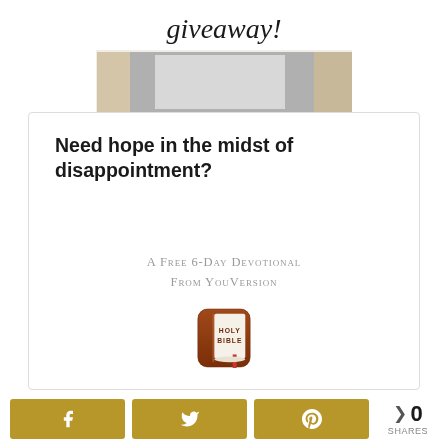[Figure (photo): Top portion of a giveaway promotional image showing cursive 'giveaway!' text and a gift/photo on kraft paper background]
Need hope in the midst of disappointment?
[Figure (infographic): A Free 6-Day Devotional From YouVersion with Holy Bible app icon]
[Figure (infographic): Social share bar with Facebook, Twitter, Pinterest buttons and 0 SHARES count]